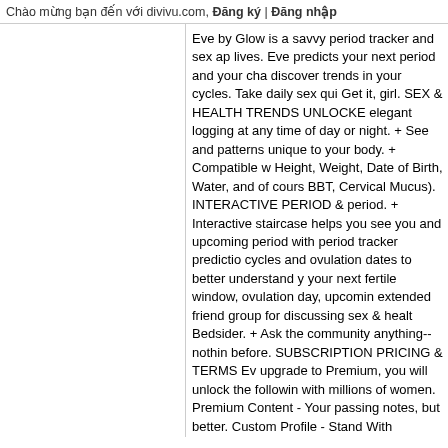Chào mừng bạn đến với divivu.com, Đăng ký | Đăng nhập
Eve by Glow is a savvy period tracker and sex app for savvy women who own their sexual lives. Eve predicts your next period and your chances of getting pregnant, and helps you discover trends in your cycles. Take daily sex quizzes to see how you compare to others. Get it, girl. SEX & HEALTH TRENDS UNLOCKED - Daily sex & health quizzes allow elegant logging at any time of day or night. + See personalized trends to discover insights and patterns unique to your body. + Compatible with Apple Health (tracks Activity, Height, Weight, Date of Birth, Water, and of course: Menstruation, Sleep, Mood, Spotting, BBT, Cervical Mucus). INTERACTIVE PERIOD & OVULATION TRACKER - + Track your period. + Interactive staircase helps you see your cycles + Get reminders for an upcoming and upcoming period with period tracker predictions. + See stats on the length of your cycles and ovulation dates to better understand your trends. + Eve also predicts and tracks your next fertile window, ovulation day, upcoming period. COMMUNITY - + Join an extended friend group for discussing sex & health topics, powered by Planned Parenthood's Bedsider. + Ask the community anything--nothing is off limits. No question has been asked before. SUBSCRIPTION PRICING & TERMS Eve is free to use. However, if you choose to upgrade to Premium, you will unlock the following features, and you'll be able to connect with millions of women. Premium Content - Your favorite secret-passer just grew up. Like passing notes, but better. Custom Profile - Stand out from the crowd with a custom profile. With Premium, you jump the queue! $29.99 for 3 months (saves 25%) after a free 7 day free trial ($3.99/month) $79.99 for lifetime (saves 60%) Subscription automatically renews unless auto-renew is turned off at least 24-hours before end. Your iTunes Account will be charged for renewal within 24-hours. 6 month automatically subscription is $47.99, monthly subscription is $7.99. Auto-renewal may be turned off by going to your Account Settings in iTunes after purchase. Privacy Policy & Terms of Service: https://glowing.com/privacy https://glowing.com/terms Social Media: Facebook - http://www.facebook.com/glow Twitter - @GlowApp Instagram - @GlowHQ If you are having technical issues or have questions, we are happy to help. Please send us an email to: support@glo...